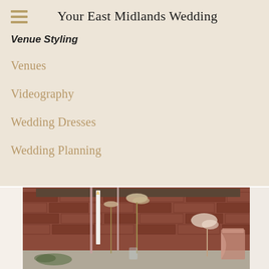Your East Midlands Wedding
Venue Styling
Venues
Videography
Wedding Dresses
Wedding Planning
[Figure (photo): Wedding venue styling photo showing tall candles, pampas grass, dried floral arrangements against a brick wall backdrop, with a pink draped chair visible on the right]